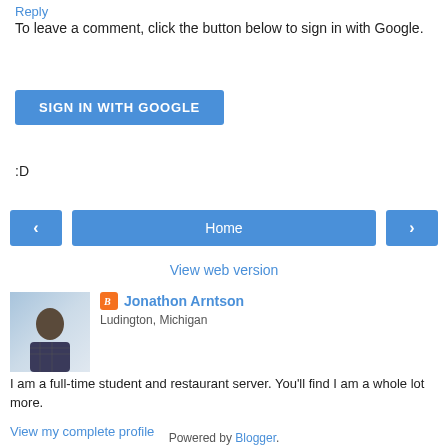Reply
To leave a comment, click the button below to sign in with Google.
[Figure (other): SIGN IN WITH GOOGLE button — blue rounded rectangle with white uppercase text]
:D
[Figure (other): Navigation bar with left arrow button, Home button, and right arrow button — all blue]
View web version
[Figure (photo): Profile photo of Jonathon Arntson — man in plaid shirt against light blue/white background]
Jonathon Arntson
Ludington, Michigan
I am a full-time student and restaurant server. You'll find I am a whole lot more.
View my complete profile
Powered by Blogger.